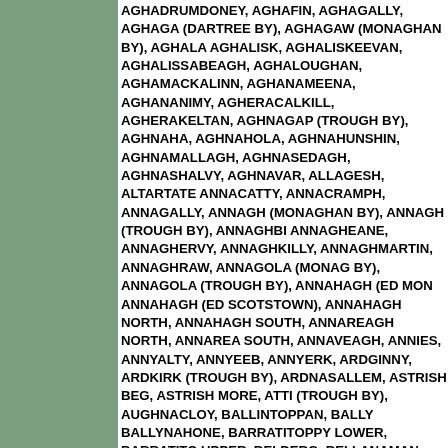AGHADRUMDONEY, AGHAFIN, AGHAGALLY, AGHAGA (DARTREE BY), AGHAGAW (MONAGHAN BY), AGHALA AGHALISK, AGHALISKEEVAN, AGHALISSABEAGH, AGHALOUGHAN, AGHAMACKALINN, AGHANAMEENA, AGHANANIMY, AGHERACALKILL, AGHERAKELTAN, AGHNAGAP (TROUGH BY), AGHNAHA, AGHNAHOLA, AGHNAHUNSHIN, AGHNAMALLAGH, AGHNASEDAGH, AGHNASHALVY, AGHNAVAR, ALLAGESH, ALTARTATE ANNACATTY, ANNACRAMPH, ANNAGALLY, ANNAGH (MONAGHAN BY), ANNAGH (TROUGH BY), ANNAGHBI ANNAGHEANE, ANNAGHERVY, ANNAGHKILLY, ANNAGHMARTIN, ANNAGHRAW, ANNAGOLA (MONAG BY), ANNAGOLA (TROUGH BY), ANNAHAGH (ED MON ANNAHAGH (ED SCOTSTOWN), ANNAHAGH NORTH, ANNAHAGH SOUTH, ANNAREAGH NORTH, ANNAREA SOUTH, ANNAVEAGH, ANNIES, ANNYALTY, ANNYEEB, ANNYERK, ARDGINNY, ARDKIRK (TROUGH BY), ARDNASALLEM, ASTRISH BEG, ASTRISH MORE, ATTI (TROUGH BY), AUGHNACLOY, BALLINTOPPAN, BALLY BALLYNAHONE, BARRATITOPPY LOWER, BARRATITO UPPER, BELDERG, BELLANAMAN, BILLARY, BILLIS, B BOUGH, BOUGHILL, BOUGHKEEL, BRACKAGH (TROU BRAGAN, BRANDRUM, BROOKVALE, BULLOGBREAN, BURDAUTIEN, CALDAVNET, CAMLA, CAPPAGH, CAPP (KILGORMLY), CAPPOG (MONAGHAN BY), CARN (ED CLONES), CARN (MONAGHAN BY), CARNEY ISLAND, CARNOWEN, CARNQUILL, CARRACHOR, CARRICKMO CARRIGANS, CARRIVETRAGH, CARROWBARRA, CARROWBARRA ISLAND, CARROWHATTA, CARROW CAVAN, CAVAN (COPE), CAVAN (MOUTRAY), CAVANAG